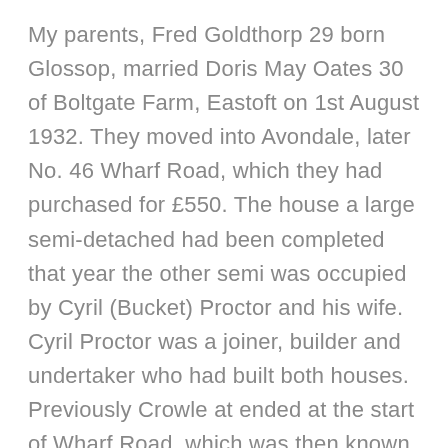My parents, Fred Goldthorp 29 born Glossop, married Doris May Oates 30 of Boltgate Farm, Eastoft on 1st August 1932. They moved into Avondale, later No. 46 Wharf Road, which they had purchased for £550. The house a large semi-detached had been completed that year the other semi was occupied by Cyril (Bucket) Proctor and his wife. Cyril Proctor was a joiner, builder and undertaker who had built both houses. Previously Crowle at ended at the start of Wharf Road, which was then known as Crowle South End. These two semis were the first to be built on the east side of